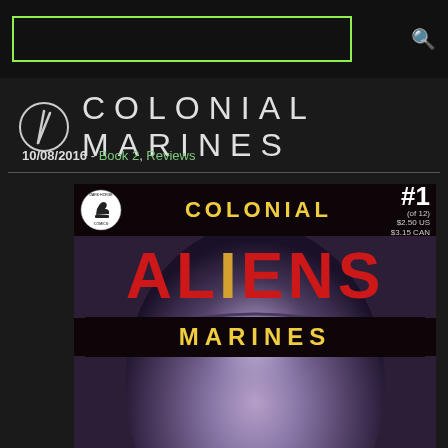Search bar with green border, search icon
COLONIAL MARINES
10/08/2016 - Book 2, Reviews
[Figure (photo): Comic book cover: Aliens Colonial Marines #1 (of 12) Dark Horse Comics. Cover shows COLONIAL in yellow at top, ALIENS in red large text in middle, MARINES in yellow at bottom on black bands. Background shows alien creature head. Price $2.50 US / $3.15 CAN. Issue #1 (of 12).]